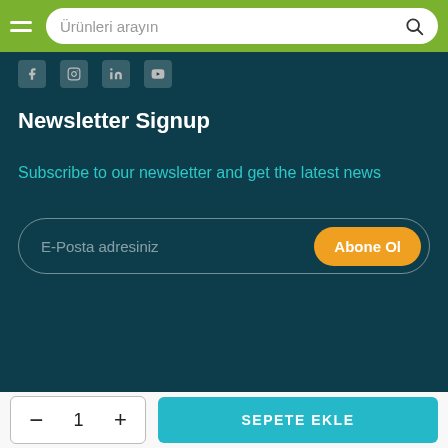Ürünleri arayın
[Figure (screenshot): Social media icons row: Facebook, Instagram, LinkedIn, YouTube]
Newsletter Signup
Subscribe to our newsletter and get the latest news
E-Posta adresiniz
Abone Ol
© 2022 parashute.com, Inc. or its affiliates.
SEPETE EKLE